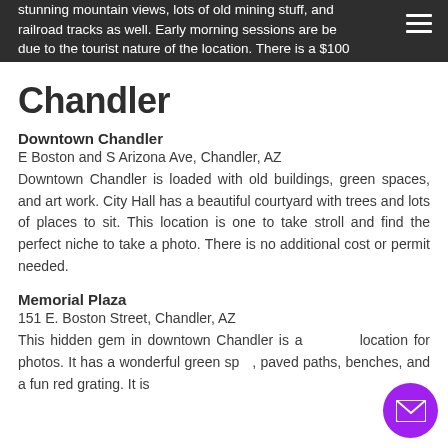stunning mountain views, lots of old mining stuff, and railroad tracks as well. Early morning sessions are best due to the tourist nature of the location. There is a $100 per hour photo fee with a one hour minimum. .
Chandler
Downtown Chandler
E Boston and S Arizona Ave, Chandler, AZ
Downtown Chandler is loaded with old buildings, green spaces, and art work. City Hall has a beautiful courtyard with trees and lots of places to sit. This location is one to take stroll and find the perfect niche to take a photo. There is no additional cost or permit needed.
Memorial Plaza
151 E. Boston Street, Chandler, AZ
This hidden gem in downtown Chandler is a location for photos. It has a wonderful green space, paved paths, benches, and a fun red grating. It is